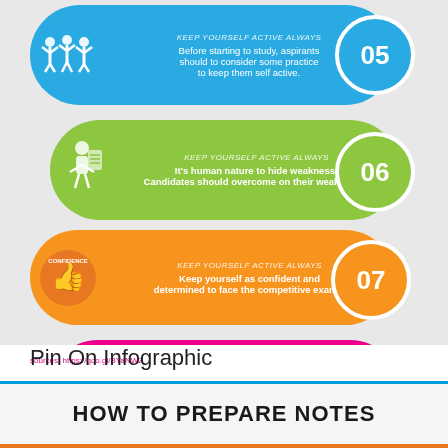[Figure (infographic): Educational infographic showing steps 05-08 for exam preparation. Step 05 (blue): 'Keep Yourself Active Always' - Before starting to study, aspirants should consider some practice to keep them self active. Step 06 (green): 'Keep Yourself Active Always' - It's human nature to hide weakness! Candidates should overcome on their weak areas. Step 07 (yellow/orange): 'Keep Yourself Active Always' - Keep yourself as confident and determined to face the competitive exams. Step 08 (pink): 'Interconnected Resources' - You can also find the study materials in the form of eBooks, Solved Papers, Practice Papers, Mock Test Set.]
sources: https://goo.gl/BYaNWZ
Pin On Infographic
HOW TO PREPARE NOTES